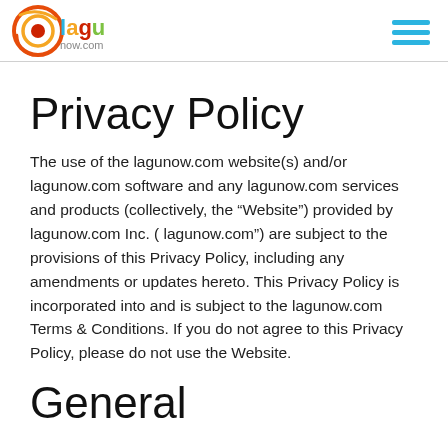lagunow.com logo and navigation menu
Privacy Policy
The use of the lagunow.com website(s) and/or lagunow.com software and any lagunow.com services and products (collectively, the “Website”) provided by lagunow.com Inc. ( lagunow.com”) are subject to the provisions of this Privacy Policy, including any amendments or updates hereto. This Privacy Policy is incorporated into and is subject to the lagunow.com Terms & Conditions. If you do not agree to this Privacy Policy, please do not use the Website.
General